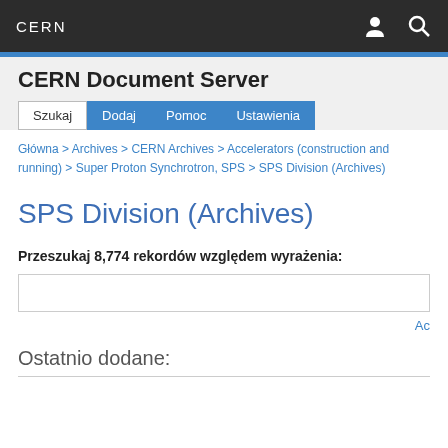CERN
CERN Document Server
Szukaj | Dodaj | Pomoc | Ustawienia
Główna > Archives > CERN Archives > Accelerators (construction and running) > Super Proton Synchrotron, SPS > SPS Division (Archives)
SPS Division (Archives)
Przeszukaj 8,774 rekordów względem wyrażenia:
Ac
Ostatnio dodane: